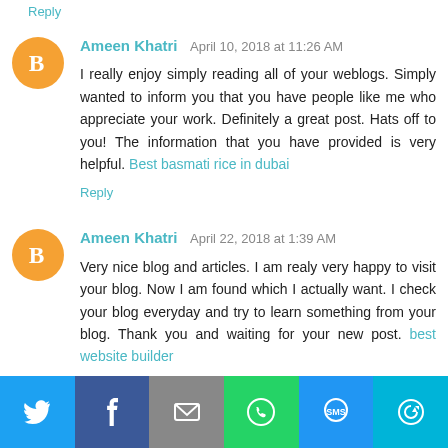Reply
Ameen Khatri  April 10, 2018 at 11:26 AM
I really enjoy simply reading all of your weblogs. Simply wanted to inform you that you have people like me who appreciate your work. Definitely a great post. Hats off to you! The information that you have provided is very helpful. Best basmati rice in dubai
Reply
Ameen Khatri  April 22, 2018 at 1:39 AM
Very nice blog and articles. I am realy very happy to visit your blog. Now I am found which I actually want. I check your blog everyday and try to learn something from your blog. Thank you and waiting for your new post. best website builder
Reply
[Figure (infographic): Social share bar with Twitter, Facebook, Email, WhatsApp, SMS, and more buttons]